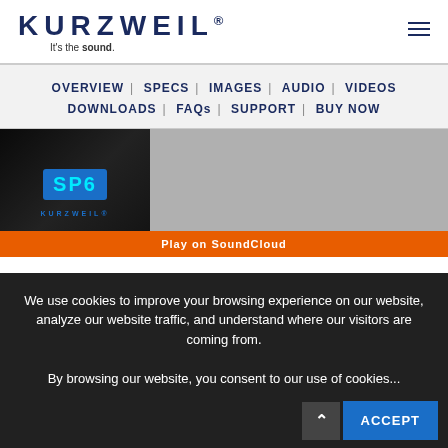[Figure (logo): Kurzweil logo with trademark symbol and tagline 'It's the sound.']
OVERVIEW | SPECS | IMAGES | AUDIO | VIDEOS | DOWNLOADS | FAQs | SUPPORT | BUY NOW
[Figure (screenshot): Kurzweil SP6 keyboard product close-up photo thumbnail with gray media area and play count 9.2K]
We use cookies to improve your browsing experience on our website, analyze our website traffic, and understand where our visitors are coming from. By browsing our website, you consent to our use of cookies...
ACCEPT